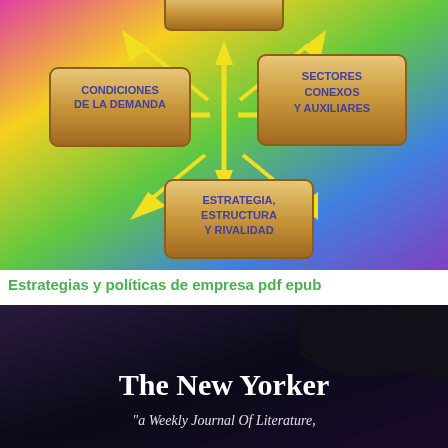[Figure (infographic): Diamond/rhombus diagram showing Porter's competitive advantage factors: 'Condiciones de la Demanda' (top-left box), 'Sectores Conexos y Auxiliares' (top-right box), 'Estrategia, Estructura y Rivalidad' (bottom-center box), connected by yellow arrows in a cross/diamond pattern. Colorful gradient background (pink, yellow, green, blue, purple).]
Estrategias y políticas de empresa pdf epub
[Figure (photo): Dark image with purple-dark background showing book cover or screenshot. Text reads 'The New Yorker' in white bold serif font, and subtitle 'a Weekly Journal Of Literature,' below it in white italic text.]